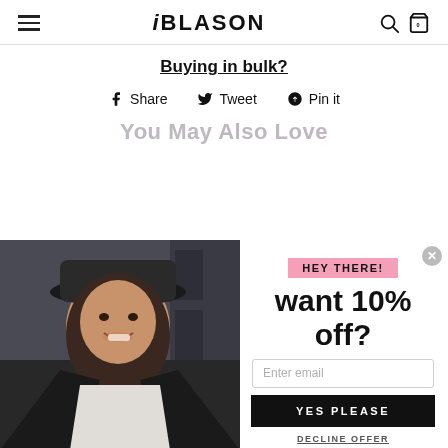iBLASON
Buying in bulk?
Share  Tweet  Pin it
You May Also Love
[Figure (photo): Woman wearing a black hat and leather jacket, holding a purple phone case, smiling outdoors]
HEY THERE!
want 10% off?
Enter email
YES PLEASE
DECLINE OFFER